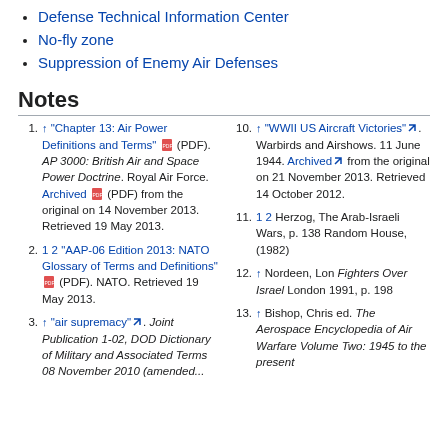Defense Technical Information Center
No-fly zone
Suppression of Enemy Air Defenses
Notes
1. ↑ "Chapter 13: Air Power Definitions and Terms" (PDF). AP 3000: British Air and Space Power Doctrine. Royal Air Force. Archived (PDF) from the original on 14 November 2013. Retrieved 19 May 2013.
2. 1 2 "AAP-06 Edition 2013: NATO Glossary of Terms and Definitions" (PDF). NATO. Retrieved 19 May 2013.
3. ↑ "air supremacy". Joint Publication 1-02, DOD Dictionary of Military and Associated Terms 08 November 2010 (amended...
10. ↑ "WWII US Aircraft Victories". Warbirds and Airshows. 11 June 1944. Archived from the original on 21 November 2013. Retrieved 14 October 2012.
11. 1 2 Herzog, The Arab-Israeli Wars, p. 138 Random House, (1982)
12. ↑ Nordeen, Lon Fighters Over Israel London 1991, p. 198
13. ↑ Bishop, Chris ed. The Aerospace Encyclopedia of Air Warfare Volume Two: 1945 to the present